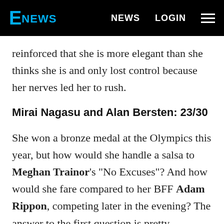E NEWS  NEWS  LOGIN
reinforced that she is more elegant than she thinks she is and only lost control because her nerves led her to rush.
Mirai Nagasu and Alan Bersten: 23/30
She won a bronze medal at the Olympics this year, but how would she handle a salsa to Meghan Trainor's "No Excuses"? And how would she fare compared to her BFF Adam Rippon, competing later in the evening? The answer to the first question is pretty perfectly. Mirai's dance was the first of the evening that felt like it was a finished product and